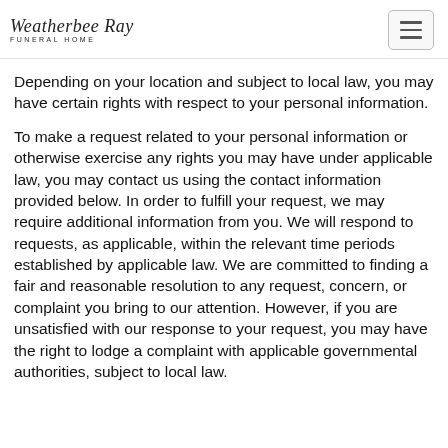Weatherbee Ray Funeral Home
Depending on your location and subject to local law, you may have certain rights with respect to your personal information.
To make a request related to your personal information or otherwise exercise any rights you may have under applicable law, you may contact us using the contact information provided below. In order to fulfill your request, we may require additional information from you. We will respond to requests, as applicable, within the relevant time periods established by applicable law. We are committed to finding a fair and reasonable resolution to any request, concern, or complaint you bring to our attention. However, if you are unsatisfied with our response to your request, you may have the right to lodge a complaint with applicable governmental authorities, subject to local law.